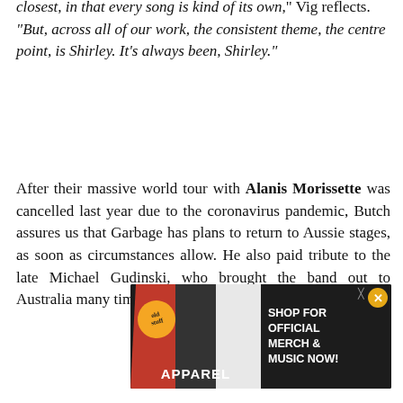closest, in that every song is kind of its own," Vig reflects. "But, across all of our work, the consistent theme, the centre point, is Shirley. It's always been, Shirley."
After their massive world tour with Alanis Morissette was cancelled last year due to the coronavirus pandemic, Butch assures us that Garbage has plans to return to Aussie stages, as soon as circumstances allow. He also paid tribute to the late Michael Gudinski, who brought the band out to Australia many times over the past 25 years.
"You guys lost a great with Michael Gudinski," says Vig. "We were so sad ... It's just hard to imagine that he's not here anymore. He'd talked to Shirley just a few days before he died, saying 'this r... see us to... make... him down."
[Figure (other): Advertisement banner for Old Stuff apparel and music merchandise featuring people in branded clothing with text SHOP FOR OFFICIAL MERCH & MUSIC NOW!]